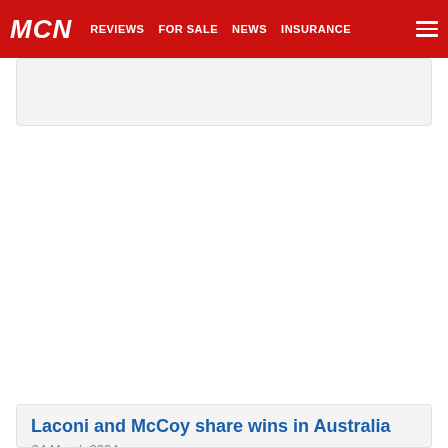MCN | REVIEWS | FOR SALE | NEWS | INSURANCE
Laconi and McCoy share wins in Australia
24 March 2004